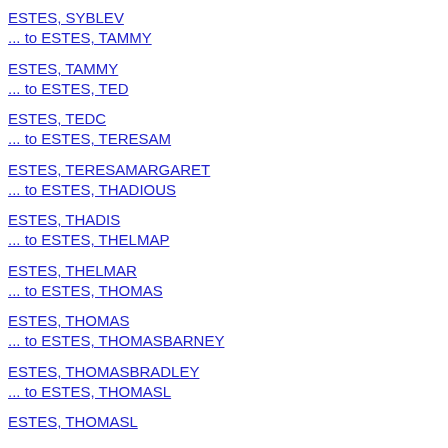ESTES, SYBLEV
... to ESTES, TAMMY
ESTES, TAMMY
... to ESTES, TED
ESTES, TEDC
... to ESTES, TERESAM
ESTES, TERESAMARGARET
... to ESTES, THADIOUS
ESTES, THADIS
... to ESTES, THELMAP
ESTES, THELMAR
... to ESTES, THOMAS
ESTES, THOMAS
... to ESTES, THOMASBARNEY
ESTES, THOMASBRADLEY
... to ESTES, THOMASL
ESTES, THOMASL